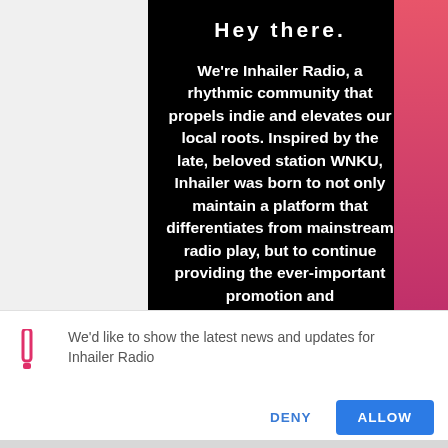Hey there.
We're Inhailer Radio, a rhythmic community that propels indie and elevates our local roots. Inspired by the late, beloved station WNKU, Inhailer was born to not only maintain a platform that differentiates from mainstream radio play, but to continue providing the ever-important promotion and
We'd like to show the latest news and updates for Inhailer Radio